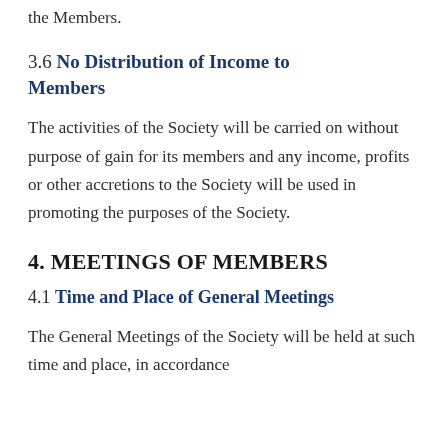the Members.
3.6 No Distribution of Income to Members
The activities of the Society will be carried on without purpose of gain for its members and any income, profits or other accretions to the Society will be used in promoting the purposes of the Society.
4. MEETINGS OF MEMBERS
4.1 Time and Place of General Meetings
The General Meetings of the Society will be held at such time and place, in accordance